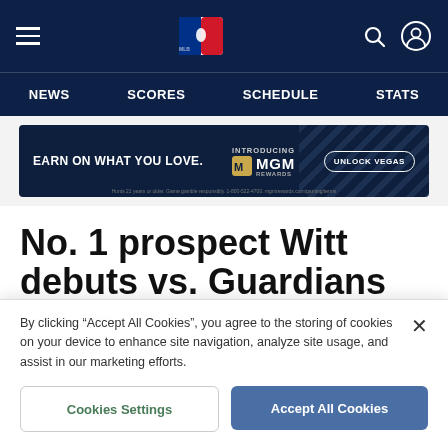MLB navigation header with hamburger menu, MLB logo, search and user icons
NEWS   SCORES   SCHEDULE   STATS
[Figure (screenshot): Advertisement banner: EARN ON WHAT YOU LOVE. INTRODUCING MGM REWARDS UNLOCK VEGAS]
No. 1 prospect Witt debuts vs. Guardians
April 7th, 2022
By clicking “Accept All Cookies”, you agree to the storing of cookies on your device to enhance site navigation, analyze site usage, and assist in our marketing efforts.
Cookies Settings   Accept All Cookies